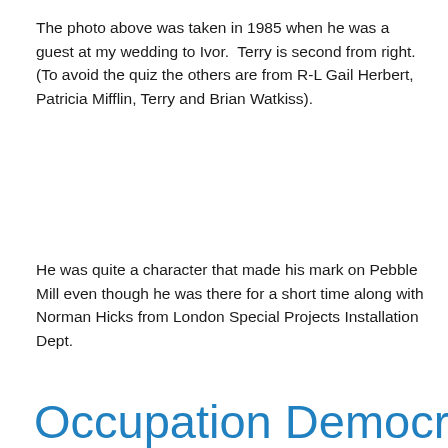The photo above was taken in 1985 when he was a guest at my wedding to Ivor.  Terry is second from right. (To avoid the quiz the others are from R-L Gail Herbert, Patricia Mifflin, Terry and Brian Watkiss).
He was quite a character that made his mark on Pebble Mill even though he was there for a short time along with Norman Hicks from London Special Projects Installation Dept.
Annie Gumbley-Williams
Occupation Democrat